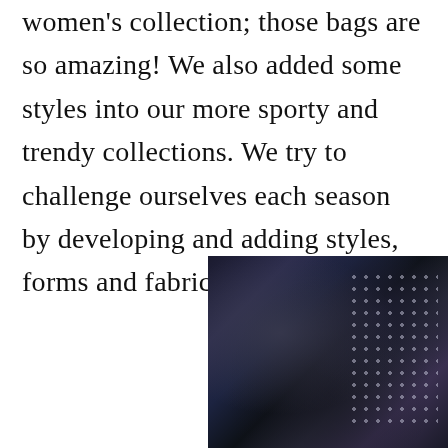women's collection; those bags are so amazing! We also added some styles into our more sporty and trendy collections. We try to challenge ourselves each season by developing and adding styles, forms and fabrics.
[Figure (photo): Fashion photo of a person wearing a dark blazer/jacket over a polka dot garment, photographed in a dark outdoor setting near a door.]